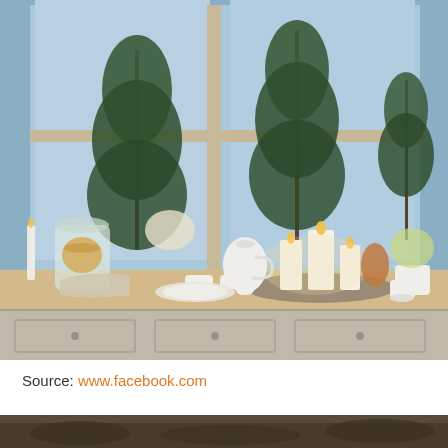[Figure (photo): Holiday kitchen scene with small pine trees placed on a sideboard in front of a window with snowy outdoor view. Decorations include white candles on a metal tray, white teacups, a white teapot, a glass jar with cookies, flowers, and potted plants on a light wood countertop with grey painted cabinet drawers below.]
Source: www.facebook.com
[Figure (photo): Partial bottom image showing a dark holiday or nature scene, cropped.]